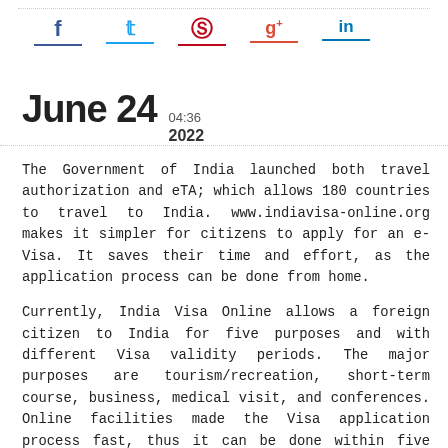Social sharing icons: Facebook, Twitter, Pinterest, Google+, LinkedIn
June 24  04:36 2022
The Government of India launched both travel authorization and eTA; which allows 180 countries to travel to India. www.indiavisa-online.org makes it simpler for citizens to apply for an e-Visa. It saves their time and effort, as the application process can be done from home.
Currently, India Visa Online allows a foreign citizen to India for five purposes and with different Visa validity periods. The major purposes are tourism/recreation, short-term course, business, medical visit, and conferences. Online facilities made the Visa application process fast, thus it can be done within five minutes. The applicant can fill out the form, upload certain documents, and can submit it using a mobile, tablet, or computer. They are also required to pay